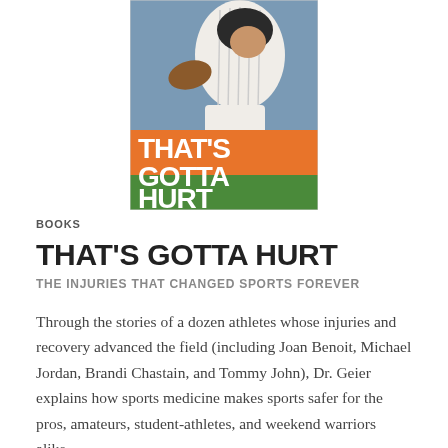[Figure (photo): Book cover of 'That's Gotta Hurt: The Injuries That Changed Sports Forever' showing a baseball player sliding, with the title text overlaid in white and green letters on an orange background.]
BOOKS
THAT'S GOTTA HURT
THE INJURIES THAT CHANGED SPORTS FOREVER
Through the stories of a dozen athletes whose injuries and recovery advanced the field (including Joan Benoit, Michael Jordan, Brandi Chastain, and Tommy John), Dr. Geier explains how sports medicine makes sports safer for the pros, amateurs, student-athletes, and weekend warriors alike.